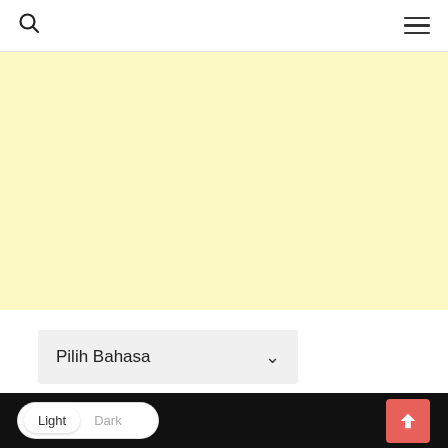Navigation bar with search icon and hamburger menu
[Figure (other): Light yellow advertisement banner placeholder area]
Pilih Bahasa
Diberdayakan oleh Google Terjemahan
Light Dark toggle and scroll-to-top button on black bar